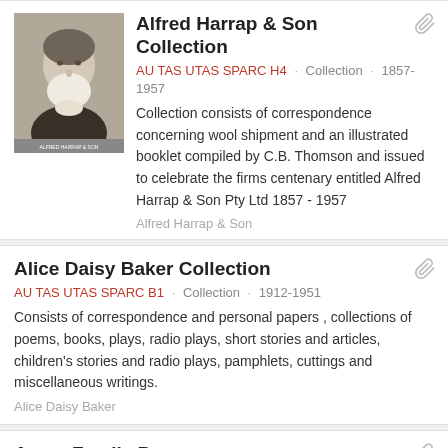Alfred Harrap & Son Collection
AU TAS UTAS SPARC H4 · Collection · 1857-1957
Collection consists of correspondence concerning wool shipment and an illustrated booklet compiled by C.B. Thomson and issued to celebrate the firms centenary entitled Alfred Harrap & Son Pty Ltd 1857 - 1957
Alfred Harrap & Son
Alice Daisy Baker Collection
AU TAS UTAS SPARC B1 · Collection · 1912-1951
Consists of correspondence and personal papers , collections of poems, books, plays, radio plays, short stories and articles, children's stories and radio plays, pamphlets, cuttings and miscellaneous writings.
Alice Daisy Baker
Amos Family Papers
AU TAS UTAS SPARC A10 · Collection · 1774-1845
Microfilm includes - Diary of Adam Amos (1774-1845), May 1822 - December 1825. A record of chief happenings in the